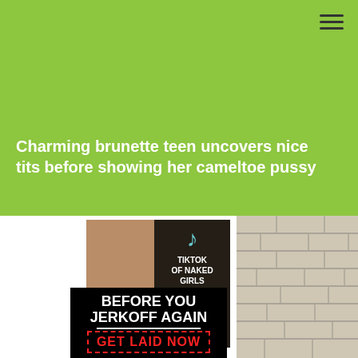Charming brunette teen uncovers nice tits before showing her cameltoe pussy
[Figure (photo): Advertisement banner with TikTok branding — 'TIKTOK OF NAKED GIRLS / JERK OFF WITH A RANDOM GIRL']
Ads by JuicyAds
[Figure (infographic): Black advertisement banner reading 'BEFORE YOU JERKOFF AGAIN / GET LAID NOW']